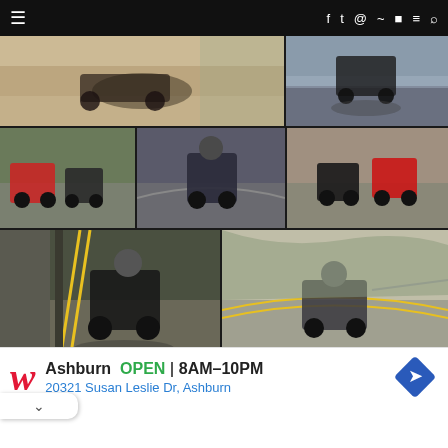Navigation bar with hamburger menu and social icons (Facebook, Twitter, Instagram, RSS, YouTube, SoundCloud, Search)
[Figure (photo): Grid of motorcycle riding photos on mountain roads. Top row: wide blurred-background motorcycle shot (left), motorcycle on straight road (right). Second row: two motorcycles on curve (left), single dark motorcycle on curve (center), two motorcycles on curve including a red one (right). Third row: black motorcycle on double-yellow-line curve (left), gray motorcycle on sweeping curve (right). Fourth row: partial photos at bottom including motorcycle and scenic road.]
Highlighted article title (partially visible, blue italic text)
Ashburn  OPEN  8AM–10PM
20321 Susan Leslie Dr, Ashburn